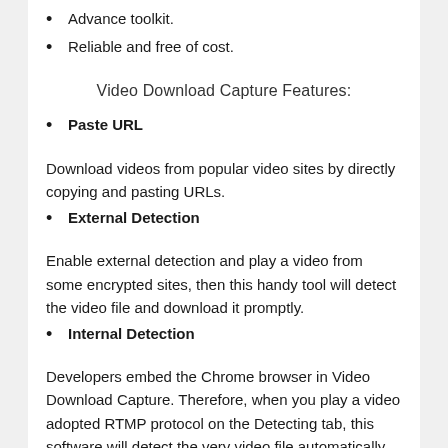Advance toolkit.
Reliable and free of cost.
Video Download Capture Features:
Paste URL
Download videos from popular video sites by directly copying and pasting URLs.
External Detection
Enable external detection and play a video from some encrypted sites, then this handy tool will detect the video file and download it promptly.
Internal Detection
Developers embed the Chrome browser in Video Download Capture. Therefore, when you play a video adopted RTMP protocol on the Detecting tab, this software will detect the very video file automatically and start to download it immediately.
Download Playlist